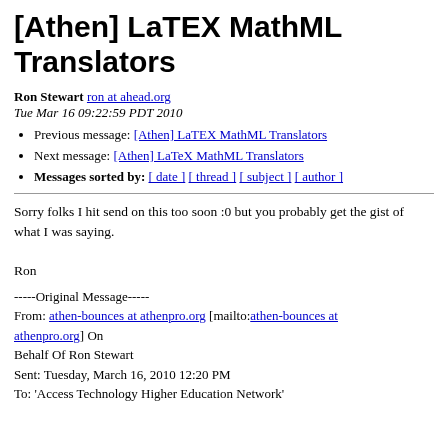[Athen] LaTEX MathML Translators
Ron Stewart ron at ahead.org
Tue Mar 16 09:22:59 PDT 2010
Previous message: [Athen] LaTEX MathML Translators
Next message: [Athen] LaTeX MathML Translators
Messages sorted by: [ date ] [ thread ] [ subject ] [ author ]
Sorry folks I hit send on this too soon :0 but you probably get the gist of
what I was saying.

Ron
-----Original Message-----
From: athen-bounces at athenpro.org [mailto:athen-bounces at athenpro.org] On
Behalf Of Ron Stewart
Sent: Tuesday, March 16, 2010 12:20 PM
To: 'Access Technology Higher Education Network'